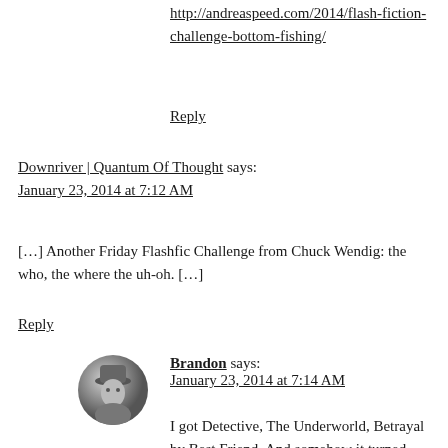http://andreaspeed.com/2014/flash-fiction-challenge-bottom-fishing/
Reply
Downriver | Quantum Of Thought says:
January 23, 2014 at 7:12 AM
[…] Another Friday Flashfic Challenge from Chuck Wendig: the who, the where the uh-oh.  […]
Reply
Brandon says:
January 23, 2014 at 7:14 AM
I got Detective, The Underworld, Betrayal by Best Friend. And somehow it turned into